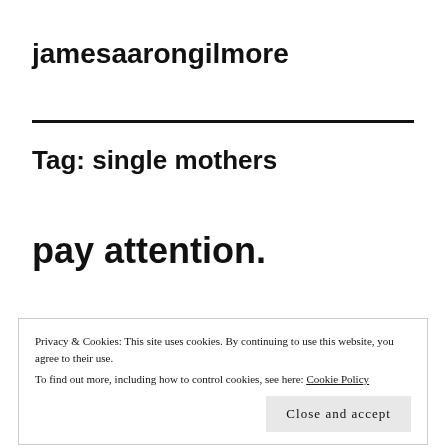jamesaarongilmore
Tag: single mothers
pay attention.
Privacy & Cookies: This site uses cookies. By continuing to use this website, you agree to their use.
To find out more, including how to control cookies, see here: Cookie Policy
Close and accept